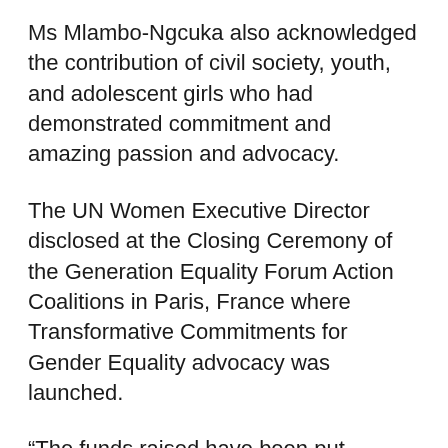Ms Mlambo-Ngcuka also acknowledged the contribution of civil society, youth, and adolescent girls who had demonstrated commitment and amazing passion and advocacy.
The UN Women Executive Director disclosed at the Closing Ceremony of the Generation Equality Forum Action Coalitions in Paris, France where Transformative Commitments for Gender Equality advocacy was launched.
“The funds raised have been put forward by the many commitment makers which will go to grassroots organizations in communities. They will go to Member States, who need to implement programmes that will address a gender divide